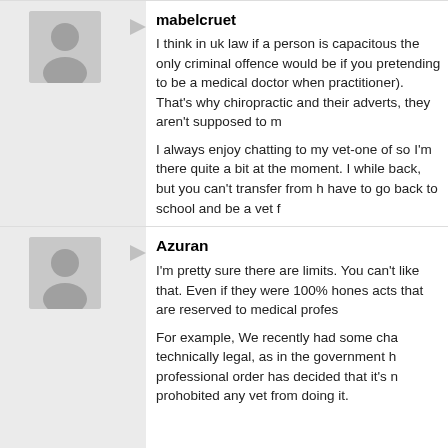mabelcruet
I think in uk law if a person is capacitous the only criminal offence would be if you pretending to be a medical doctor when practitioner). That's why chiropractic and their adverts, they aren't supposed to m
I always enjoy chatting to my vet-one of so I'm there quite a bit at the moment. I while back, but you can't transfer from h have to go back to school and be a vet f
Azuran
I'm pretty sure there are limits. You can't like that. Even if they were 100% hones acts that are reserved to medical profes
For example, We recently had some cha technically legal, as in the government h professional order has decided that it's n prohobited any vet from doing it.